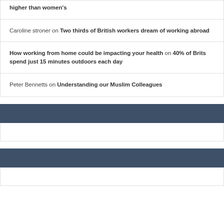higher than women's
Caroline stroner on Two thirds of British workers dream of working abroad
How working from home could be impacting your health on 40% of Brits spend just 15 minutes outdoors each day
Peter Bennetts on Understanding our Muslim Colleagues
[Figure (other): Dark header bar widget section 1]
[Figure (other): White content bar widget section 1]
[Figure (other): Dark header bar widget section 2]
[Figure (other): White content bar widget section 2]